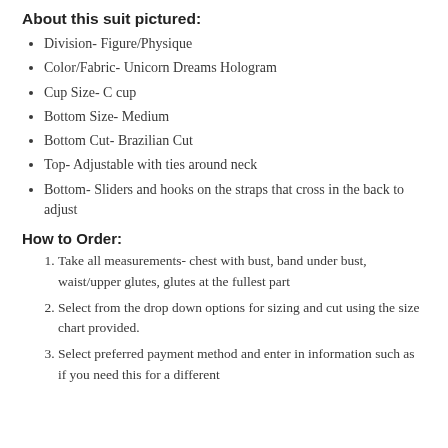About this suit pictured:
Division- Figure/Physique
Color/Fabric- Unicorn Dreams Hologram
Cup Size- C cup
Bottom Size- Medium
Bottom Cut- Brazilian Cut
Top- Adjustable with ties around neck
Bottom- Sliders and hooks on the straps that cross in the back to adjust
How to Order:
Take all measurements- chest with bust, band under bust, waist/upper glutes, glutes at the fullest part
Select from the drop down options for sizing and cut using the size chart provided.
Select preferred payment method and enter in information such as if you need this for a different